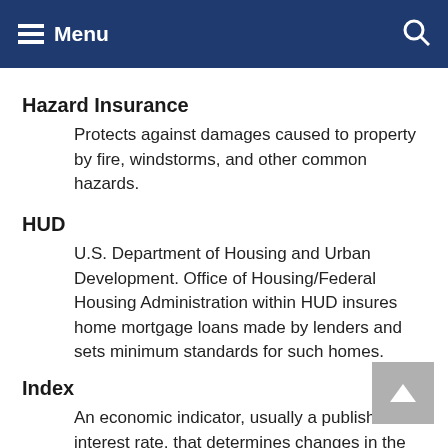Menu
Hazard Insurance
Protects against damages caused to property by fire, windstorms, and other common hazards.
HUD
U.S. Department of Housing and Urban Development. Office of Housing/Federal Housing Administration within HUD insures home mortgage loans made by lenders and sets minimum standards for such homes.
Index
An economic indicator, usually a published interest rate, that determines changes in the interest rate of an ARM. ARM rates are adjusted to reflect changes in the index. The amount by